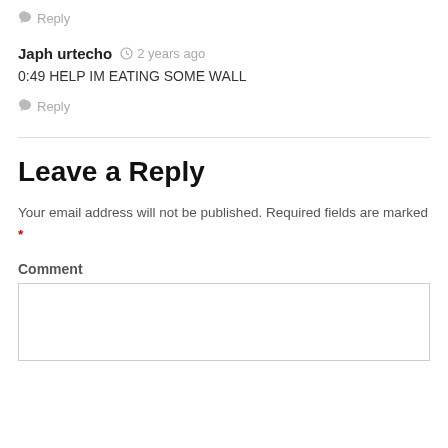Reply
Japh urtecho  2 years ago
0:49 HELP IM EATING SOME WALL
Reply
Leave a Reply
Your email address will not be published. Required fields are marked *
Comment